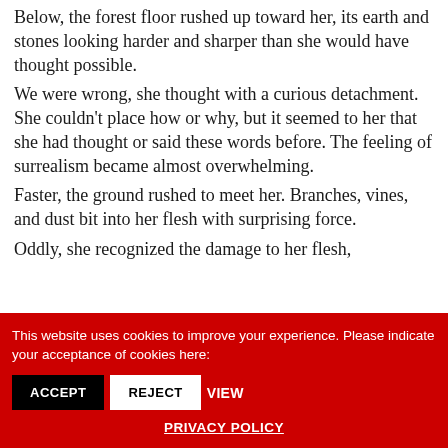Below, the forest floor rushed up toward her, its earth and stones looking harder and sharper than she would have thought possible. We were wrong, she thought with a curious detachment. She couldn't place how or why, but it seemed to her that she had thought or said these words before. The feeling of surrealism became almost overwhelming. Faster, the ground rushed to meet her. Branches, vines, and dust bit into her flesh with surprising force. Oddly, she recognized the damage to her flesh,
This website uses cookies to improve your experience. Please indicate your acceptance of cookies here: ACCEPT REJECT VIEW PRIVACY POLICY